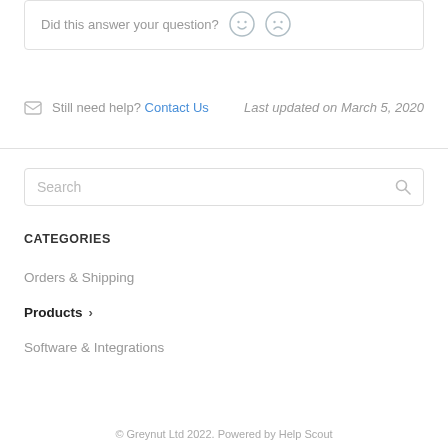Did this answer your question?
Still need help? Contact Us    Last updated on March 5, 2020
Search
CATEGORIES
Orders & Shipping
Products
Software & Integrations
© Greynut Ltd 2022. Powered by Help Scout